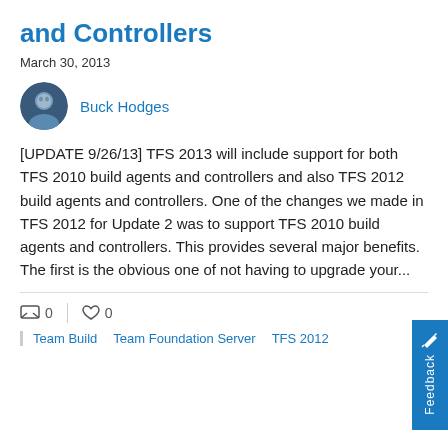and Controllers
March 30, 2013
Buck Hodges
[UPDATE 9/26/13] TFS 2013 will include support for both TFS 2010 build agents and controllers and also TFS 2012 build agents and controllers. One of the changes we made in TFS 2012 for Update 2 was to support TFS 2010 build agents and controllers. This provides several major benefits. The first is the obvious one of not having to upgrade your...
0  0
Team Build  Team Foundation Server  TFS 2012